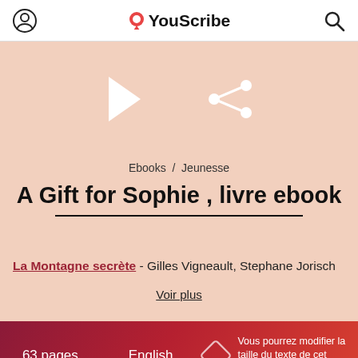YouScribe
[Figure (screenshot): Mobile app screenshot showing a blue button partially visible at top, play button and share icon on pink background]
Ebooks / Jeunesse
A Gift for Sophie , livre ebook
La Montagne secrète - Gilles Vigneault, Stephane Jorisch
Voir plus
63 pages   English   Vous pourrez modifier la taille du texte de cet ouvrage
Accueil  Univers  Ebooks  Livres audio  Presse